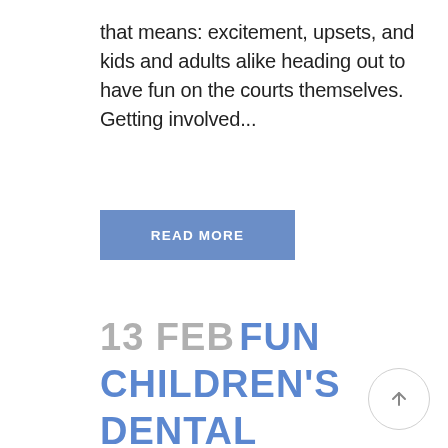that means: excitement, upsets, and kids and adults alike heading out to have fun on the courts themselves. Getting involved...
READ MORE
13 FEB FUN CHILDREN'S DENTAL